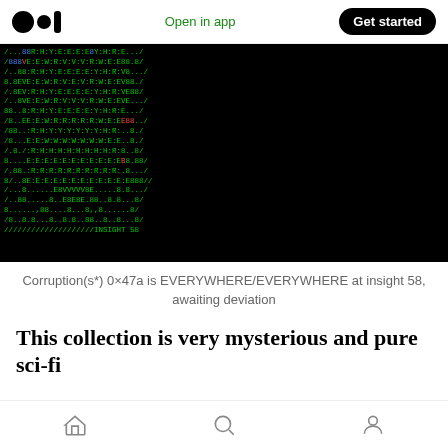Open in app | Get started
[Figure (screenshot): Terminal/ASCII art on black background showing green and colored text characters forming a pattern. Lines of text include characters like /, 8, R, H, Y, E, V, W forming visual art with some characters in blue, red, and pink colors. Bottom line reads '////////////////////INSIGHT 58']
Corruption(s*) 0×47a is EVERYWHERE/EVERYWHERE at insight 58, awaiting deviation
This collection is very mysterious and pure sci-fi
Home | Search | Profile